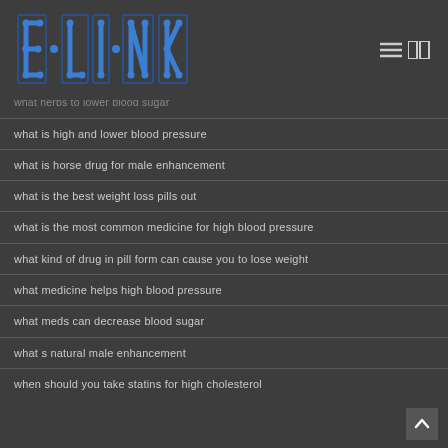[Figure (logo): ELINK logo in blue dot-connected lettering style on dark background]
what diet pill makes you lose weight the fastest
what do you do to get your blood sugar down
what do you take for high blood sugar
what herbs to lower blood sugar
what is high and lower blood pressure
what is horse drug for male enhancement
what is the best weight loss pills out
what is the most common medicine for high blood pressure
what kind of drug in pill form can cause you to lose weight
what medicine helps high blood pressure
what meds can decrease blood sugar
what s natural male enhancement
when should you take statins for high cholesterol